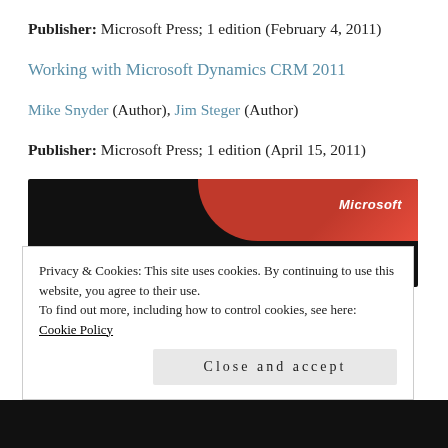Publisher: Microsoft Press; 1 edition (February 4, 2011)
Working with Microsoft Dynamics CRM 2011
Mike Snyder (Author), Jim Steger (Author)
Publisher: Microsoft Press; 1 edition (April 15, 2011)
[Figure (photo): Book cover showing Microsoft branding with red and black design]
Privacy & Cookies: This site uses cookies. By continuing to use this website, you agree to their use.
To find out more, including how to control cookies, see here: Cookie Policy
Close and accept